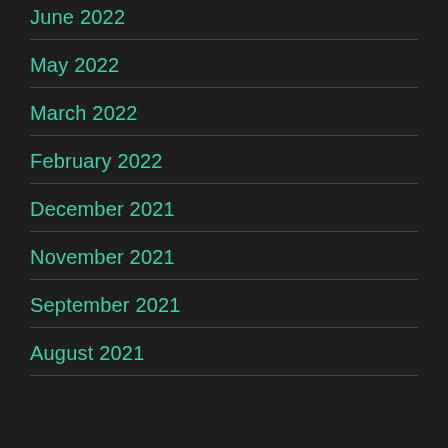June 2022
May 2022
March 2022
February 2022
December 2021
November 2021
September 2021
August 2021